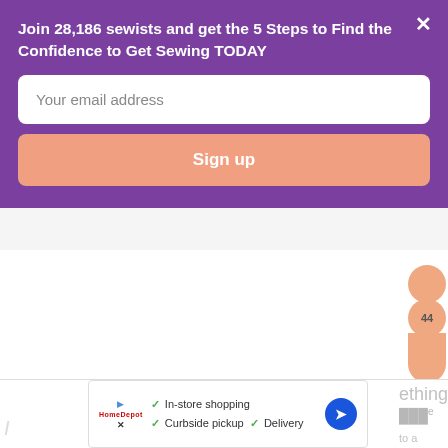Join 28,186 sewists and get the 5 Steps to Find the Confidence to Get Sewing TODAY
Your email address
Sign up
Gathering Harvest Apron Sewing Pattern
44
In-store shopping
Curbside pickup  Delivery